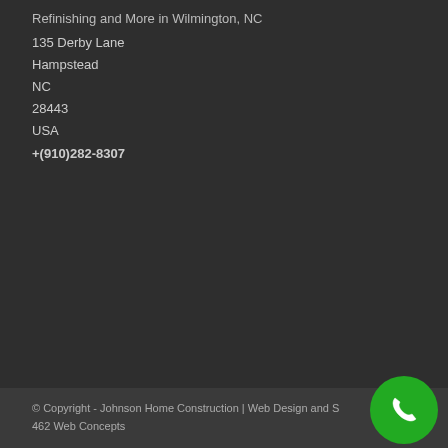Refinishing and More in Wilmington, NC
135 Derby Lane
Hampstead
NC
28443
USA
+(910)282-8307
© Copyright - Johnson Home Construction | Web Design and S... 462 Web Concepts